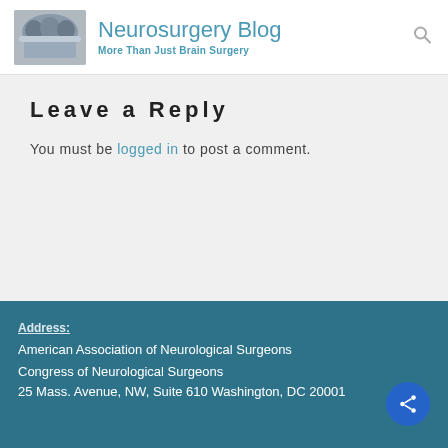Neurosurgery Blog — More Than Just Brain Surgery
Leave a Reply
You must be logged in to post a comment.
Address: American Association of Neurological Surgeons Congress of Neurological Surgeons 25 Mass. Avenue, NW, Suite 610 Washington, DC 20001